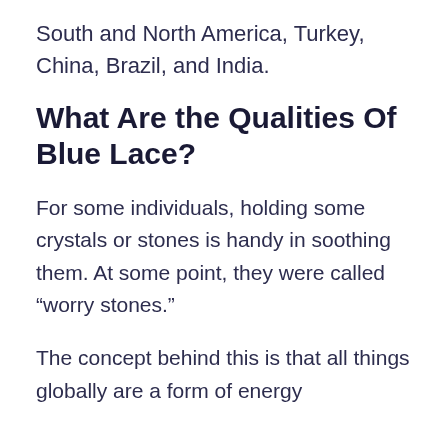South and North America, Turkey, China, Brazil, and India.
What Are the Qualities Of Blue Lace?
For some individuals, holding some crystals or stones is handy in soothing them. At some point, they were called “worry stones.”
The concept behind this is that all things globally are a form of energy